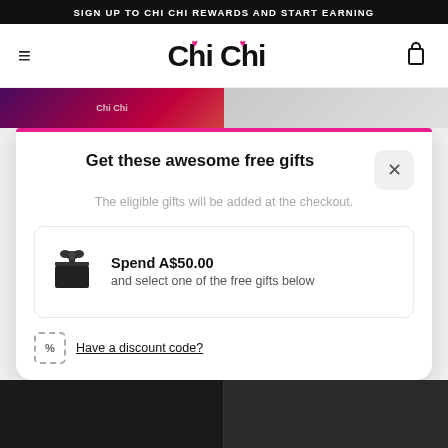SIGN UP TO CHI CHI REWARDS AND START EARNING
[Figure (logo): Chi Chi logo with pink lips accents and hamburger menu, cart icon]
[Figure (screenshot): Background product images strip showing Chi Chi makeup products]
Get these awesome free gifts
The eligible gifts will be added at the checkout.
Spend A$50.00 and select one of the free gifts below
Have a discount code?
[Figure (screenshot): Bottom black strip with VIEW 16 OPTIONS and VIEW 5 OPTIONS buttons over product imagery]
[Figure (photo): Red lipstick product partially visible at bottom, pink circular wishlist/cart button]